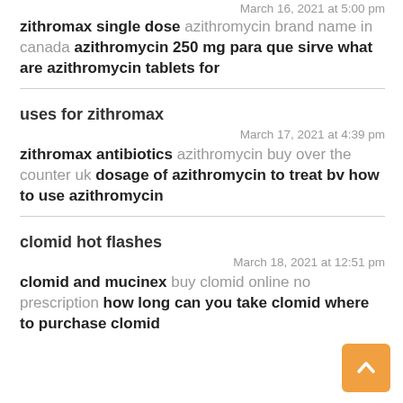March 16, 2021 at 5:00 pm
zithromax single dose azithromycin brand name in canada azithromycin 250 mg para que sirve what are azithromycin tablets for
uses for zithromax
March 17, 2021 at 4:39 pm
zithromax antibiotics azithromycin buy over the counter uk dosage of azithromycin to treat bv how to use azithromycin
clomid hot flashes
March 18, 2021 at 12:51 pm
clomid and mucinex buy clomid online no prescription how long can you take clomid where to purchase clomid